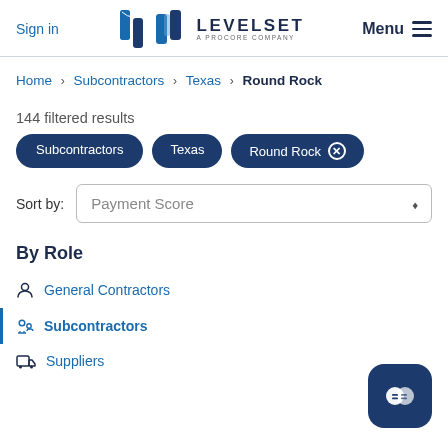Sign in | LEVELSET A PROCORE COMPANY | Menu
Home > Subcontractors > Texas > Round Rock
144 filtered results
Subcontractors  Texas  Round Rock ×
Sort by: Payment Score
By Role
General Contractors
Subcontractors
Suppliers